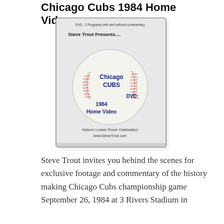Chicago Cubs 1984 Home Videos
[Figure (photo): DVD case for 'Steve Trout Presents.... Chicago Cubs 1984 Home Video DVD' featuring a baseball disc design. Text reads: DVD - 2 Programs with and without commentary, Steve Trout Presents...., Chicago Cubs DVD, 1984 Home Video, Historic Locker Room Celebration, www.SteveTrout.com]
Steve Trout invites you behind the scenes for exclusive footage and commentary of the history making Chicago Cubs championship game September 26, 1984 at 3 Rivers Stadium in